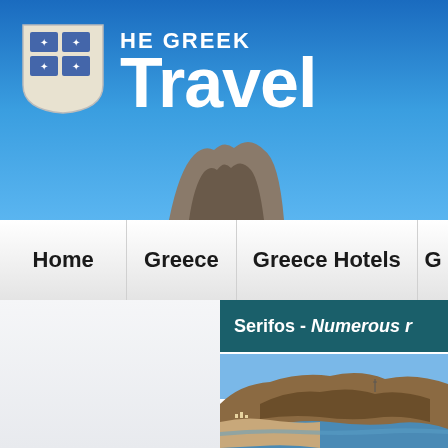THE GREEK Travel
Home | Greece | Greece Hotels | G
Serifos - Numerous r
[Figure (photo): Aerial photo of Serifos island showing rocky brown hills, coastline, blue sea and a small harbor settlement]